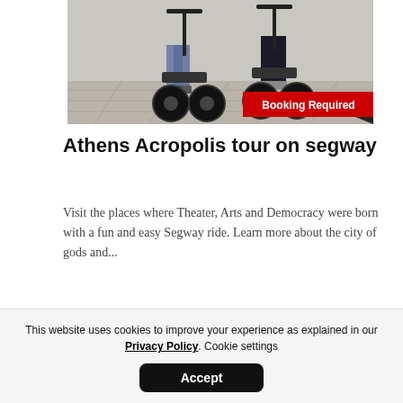[Figure (photo): Two people riding Segways on a stone-paved surface, cropped at torso level showing legs and the Segway vehicles. A red 'Booking Required' badge appears in the lower right of the image.]
Athens Acropolis tour on segway
Visit the places where Theater, Arts and Democracy were born with a fun and easy Segway ride. Learn more about the city of gods and...
This website uses cookies to improve your experience as explained in our Privacy Policy. Cookie settings
Accept